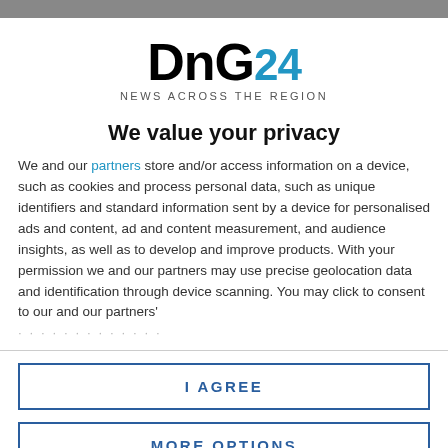[Figure (logo): DnG24 News Across The Region logo with DnG in black bold and 24 in blue]
We value your privacy
We and our partners store and/or access information on a device, such as cookies and process personal data, such as unique identifiers and standard information sent by a device for personalised ads and content, ad and content measurement, and audience insights, as well as to develop and improve products. With your permission we and our partners may use precise geolocation data and identification through device scanning. You may click to consent to our and our partners'
I AGREE
MORE OPTIONS
when working on a farm. In a survey of 500 farmers